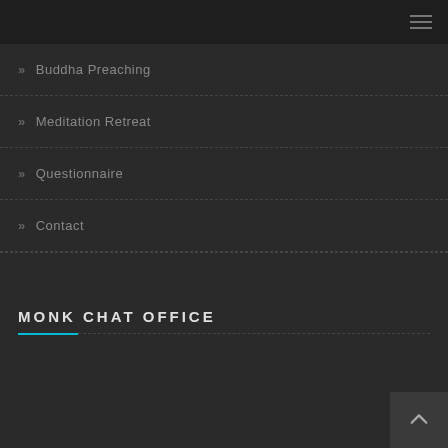≡
» Buddha Preaching
» Meditation Retreat
» Questionnaire
» Contact
MONK CHAT OFFICE